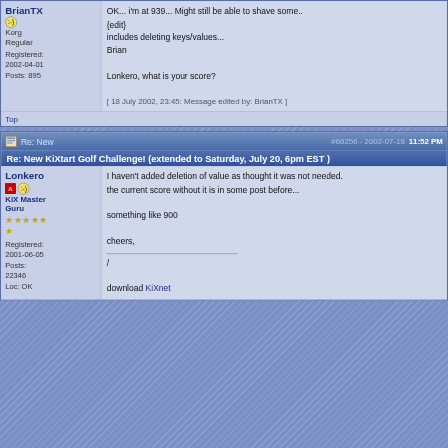BrianTX | Korg Regular | Registered: 2002-04-01 | Posts: 895
OK... i'm at 939... Might still be able to shave some..
{edit}
includes deleting keys/values...
Brian

Lonkero, what is your score?

[ 18 July 2002, 23:45: Message edited by: BrianTX ]
Top
Re: New KiXtart Golf Challenge! (extended to Saturday, July 20, 6pm EST )
#68256 - 2002-07-18 11:52 PM
Lonkero | KiX Master Guru | Registered: 2001-06-05 | Posts: 22346 | Loc: OK
I haven't added deletion of value as thought it was not needed.
the current score without it is in some post before...

something like 900

cheers,

/

download KiXnet